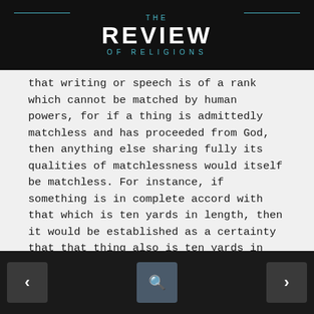THE REVIEW OF RELIGIONS
that writing or speech is of a rank which cannot be matched by human powers, for if a thing is admittedly matchless and has proceeded from God, then anything else sharing fully its qualities of matchlessness would itself be matchless. For instance, if something is in complete accord with that which is ten yards in length, then it would be established as a certainty that that thing also is ten yards in length.
The Rose: A Wonder of Allah's Creation
Now we shall select out of the creations of God a delicate creation, that is to say, a rose, and we shall set out the external and
< search >